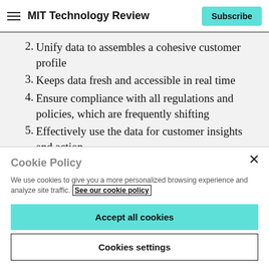MIT Technology Review | Subscribe
2. Unify data to assembles a cohesive customer profile
3. Keeps data fresh and accessible in real time
4. Ensure compliance with all regulations and policies, which are frequently shifting
5. Effectively use the data for customer insights and action
Cookie Policy
We use cookies to give you a more personalized browsing experience and analyze site traffic. See our cookie policy
Accept all cookies
Cookies settings